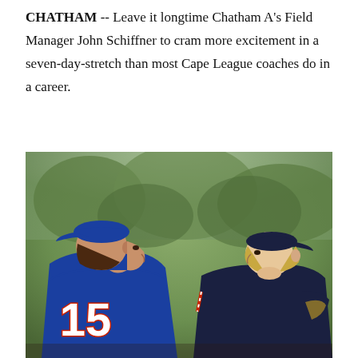CHATHAM -- Leave it longtime Chatham A's Field Manager John Schiffner to cram more excitement in a seven-day-stretch than most Cape League coaches do in a career.
[Figure (photo): Two baseball players/coaches talking. The one on the left wears a blue jersey with the number 15 and a blue cap; the one on the right wears a dark navy uniform and cap. Green trees are visible in the background.]